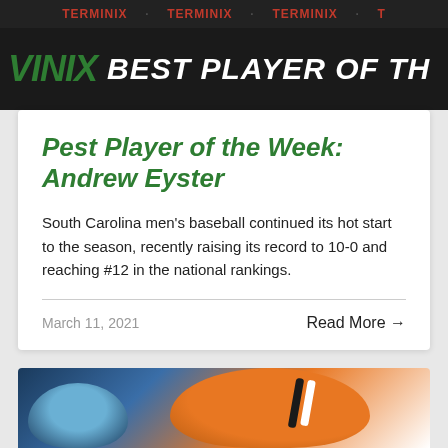[Figure (photo): Terminix sponsor banner with 'BEST PLAYER OF THE WEEK' text on dark background]
Pest Player of the Week: Andrew Eyster
South Carolina men's baseball continued its hot start to the season, recently raising its record to 10-0 and reaching #12 in the national rankings.
March 11, 2021
Read More →
[Figure (photo): Football helmets — a blue helmet on the left and an orange helmet with white and black stripes on the right, on a blurred background]